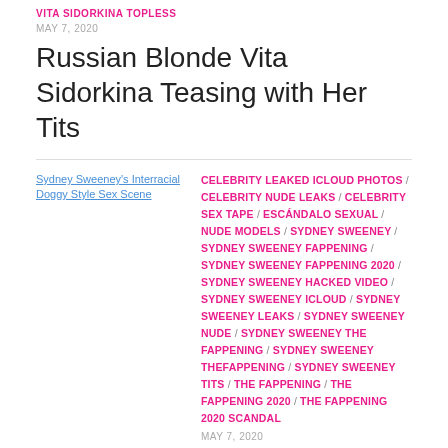VITA SIDORKINA TOPLESS
MAY 7, 2020
Russian Blonde Vita Sidorkina Teasing with Her Tits
[Figure (photo): Thumbnail image placeholder for Sydney Sweeney's Interracial Doggy Style Sex Scene]
CELEBRITY LEAKED ICLOUD PHOTOS / CELEBRITY NUDE LEAKS / CELEBRITY SEX TAPE / ESCÁNDALO SEXUAL / NUDE MODELS / SYDNEY SWEENEY / SYDNEY SWEENEY FAPPENING / SYDNEY SWEENEY FAPPENING 2020 / SYDNEY SWEENEY HACKED VIDEO / SYDNEY SWEENEY ICLOUD / SYDNEY SWEENEY LEAKS / SYDNEY SWEENEY NUDE / SYDNEY SWEENEY THE FAPPENING / SYDNEY SWEENEY THEFAPPENING / SYDNEY SWEENEY TITS / THE FAPPENING / THE FAPPENING 2020 / THE FAPPENING 2020 SCANDAL
MAY 7, 2020
Sydney Sweeney's Interracial